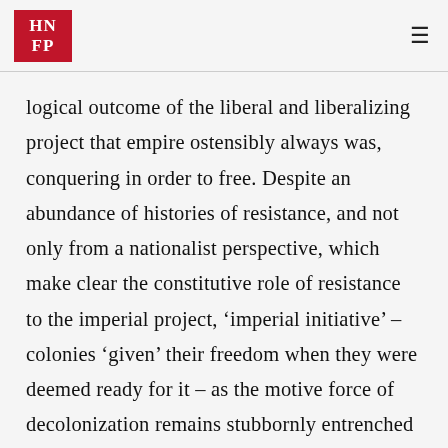HNFP
logical outcome of the liberal and liberalizing project that empire ostensibly always was, conquering in order to free. Despite an abundance of histories of resistance, and not only from a nationalist perspective, which make clear the constitutive role of resistance to the imperial project, ‘imperial initiative’ – colonies ‘given’ their freedom when they were deemed ready for it – as the motive force of decolonization remains stubbornly entrenched